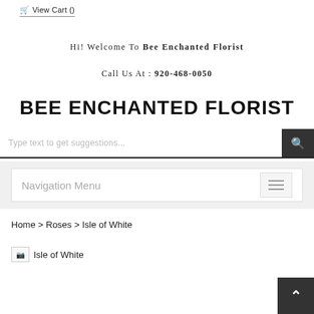View Cart ()
Hi! Welcome To Bee Enchanted Florist
Call Us At : 920-468-0050
BEE ENCHANTED FLORIST
Type text to get suggestions...
Navigation Menu
Home > Roses > Isle of White
[Figure (photo): Broken image placeholder labeled Isle of White]